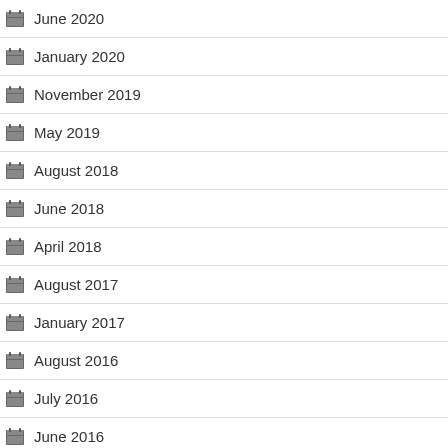June 2020
January 2020
November 2019
May 2019
August 2018
June 2018
April 2018
August 2017
January 2017
August 2016
July 2016
June 2016
May 2016
November 2015
August 2015